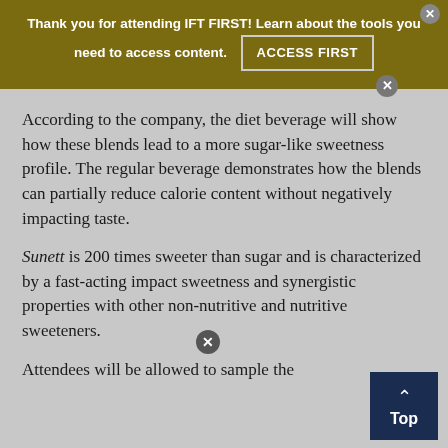Thank you for attending IFT FIRST! Learn about the tools you need to access content. ACCESS FIRST
According to the company, the diet beverage will show how these blends lead to a more sugar-like sweetness profile. The regular beverage demonstrates how the blends can partially reduce calorie content without negatively impacting taste.
Sunett is 200 times sweeter than sugar and is characterized by a fast-acting impact sweetness and synergistic properties with other non-nutritive and nutritive sweeteners.
Attendees will be allowed to sample the